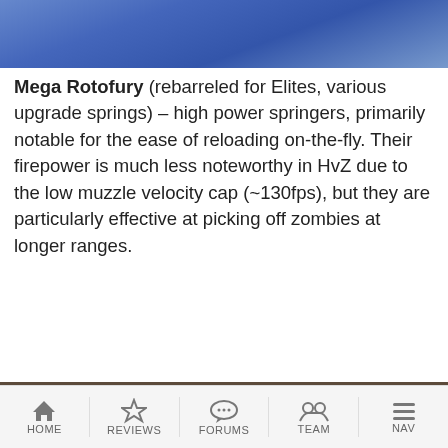[Figure (photo): Partial image of blue clothing/fabric at the top of the page]
Mega Rotofury (rebarreled for Elites, various upgrade springs) – high power springers, primarily notable for the ease of reloading on-the-fly. Their firepower is much less noteworthy in HvZ due to the low muzzle velocity cap (~130fps), but they are particularly effective at picking off zombies at longer ranges.
[Figure (photo): Photo of a Nerf Mega Rotofury blaster (orange and blue) with foam darts, along with other gear items on the ground]
HOME  REVIEWS  FORUMS  TEAM  NAV